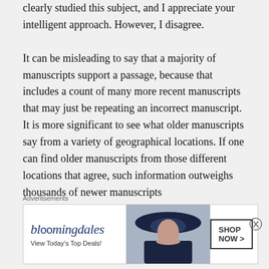clearly studied this subject, and I appreciate your intelligent approach. However, I disagree. It can be misleading to say that a majority of manuscripts support a passage, because that includes a count of many more recent manuscripts that may just be repeating an incorrect manuscript. It is more significant to see what older manuscripts say from a variety of geographical locations. If one can find older manuscripts from those different locations that agree, such information outweighs thousands of newer manuscripts
Advertisements
[Figure (other): Bloomingdale's advertisement banner with logo, tagline 'View Today's Top Deals!', a woman wearing a wide-brimmed hat, and a 'SHOP NOW >' button]